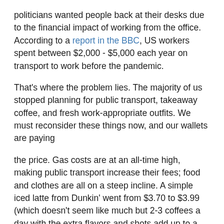politicians wanted people back at their desks due to the financial impact of working from the office. According to a report in the BBC, US workers spent between $2,000 - $5,000 each year on transport to work before the pandemic.
That's where the problem lies. The majority of us stopped planning for public transport, takeaway coffee, and fresh work-appropriate outfits. We must reconsider these things now, and our wallets are paying
the price. Gas costs are at an all-time high, making public transport increase their fees; food and clothes are all on a steep incline. A simple iced latte from Dunkin' went from $3.70 to $3.99 (which doesn't seem like much but 2-3 coffees a day with the extra flavors and shots add up to a lot), while